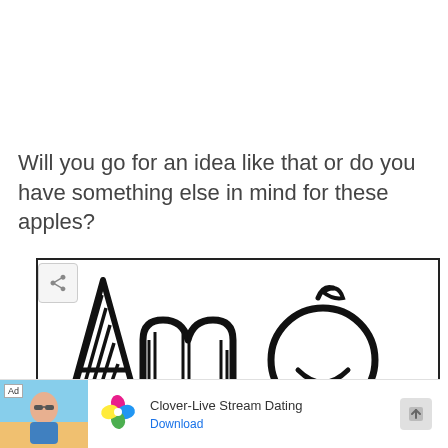Will you go for an idea like that or do you have something else in mind for these apples?
[Figure (illustration): Partial view of a cartoon/doodle-style logo or text art showing stylized letter 'A', letter 'm', and an apple icon drawn in thick black outlines on white background, with a share button icon in top-left corner.]
[Figure (infographic): Advertisement banner for Clover-Live Stream Dating app. Shows a photo of a woman at the beach on the left with an 'Ad' label, the Clover four-leaf clover logo in pink/blue/green/yellow in the center, the text 'Clover-Live Stream Dating' and a blue 'Download' link, and a scroll button on the right.]